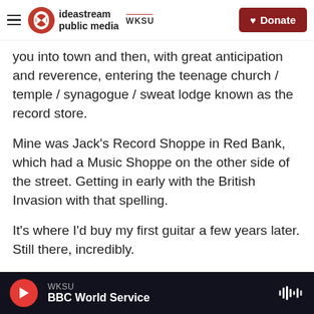ideastream public media WKSU | Donate
you into town and then, with great anticipation and reverence, entering the teenage church / temple / synagogue / sweat lodge known as the record store.
Mine was Jack's Record Shoppe in Red Bank, which had a Music Shoppe on the other side of the street. Getting in early with the British Invasion with that spelling.
It's where I'd buy my first guitar a few years later. Still there, incredibly.
The store was a beautifully constructed place of
WKSU | BBC World Service